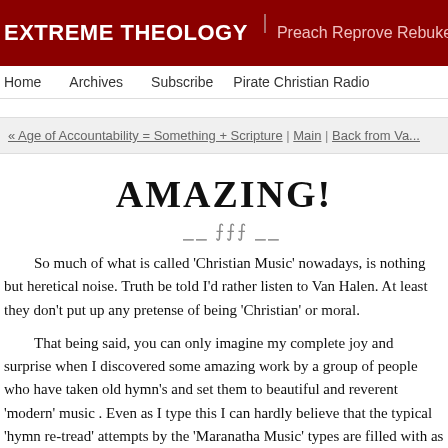EXTREME THEOLOGY | Preach Reprove Rebuke & Exhort -
Home  Archives  Subscribe  Pirate Christian Radio
« Age of Accountability = Something + Scripture | Main | Back from Va...
AMAZING!
So much of what is called 'Christian Music' nowadays, is nothing but heretical noise. Truth be told I'd rather listen to Van Halen. At least they don't put up any pretense of being 'Christian' or moral.
That being said, you can only imagine my complete joy and surprise when I discovered some amazing work by a group of people who have taken old hymn's and set them to beautiful and reverent 'modern' music . Even as I type this I can hardly believe that the typical 'hymn re-tread' attempts by the 'Maranatha Music' types are filled with as many artificial sweeteners as sodas. They are not worth the hard drive space on my iPod. This is NOT the case with the folks at bigrassmusic.com. These folks actually understand that worship music is supposed to...